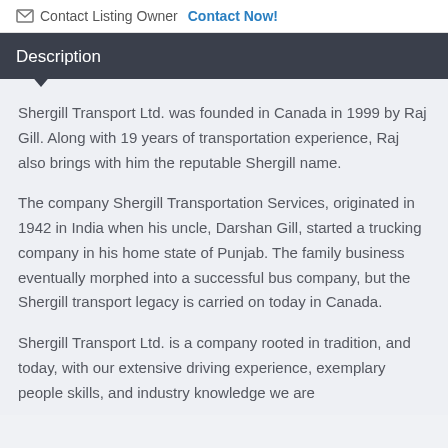Contact Listing Owner  Contact Now!
Description
Shergill Transport Ltd. was founded in Canada in 1999 by Raj Gill. Along with 19 years of transportation experience, Raj also brings with him the reputable Shergill name.
The company Shergill Transportation Services, originated in 1942 in India when his uncle, Darshan Gill, started a trucking company in his home state of Punjab. The family business eventually morphed into a successful bus company, but the Shergill transport legacy is carried on today in Canada.
Shergill Transport Ltd. is a company rooted in tradition, and today, with our extensive driving experience, exemplary people skills, and industry knowledge we are